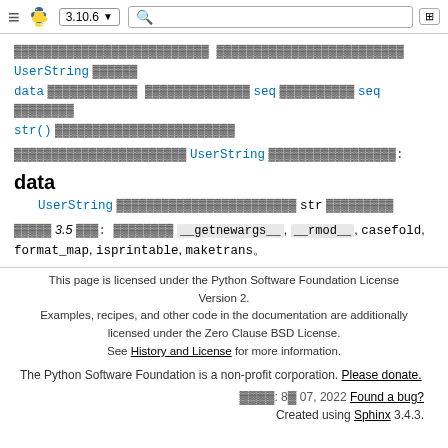Python 3.10.6 documentation header with search bar
xxxxxxxxxxxxxxxxxxxxxxxxxx xxxxxxxxxxxxxxxxxxxxxxxxx UserString xxxxxxx data xxxxxxxxxxxx xxxxxxxxxxxxx seq xxxxxxxxxx seq xxxxxxxx str() xxxxxxxxxxxxxxxxxxxxxxxx
xxxxxxxxxxxxxxxxxxxxxxxxx UserString xxxxxxxxxxxxxxxxx:
data
UserString xxxxxxxxxxxxxxxxxxxxxxxxxx str xxxxxxxxxx
xxxxxx 3.5 xxx: xxxxxxxx __getnewargs__, __rmod__, casefold, format_map, isprintable, maketrans。
This page is licensed under the Python Software Foundation License Version 2. Examples, recipes, and other code in the documentation are additionally licensed under the Zero Clause BSD License. See History and License for more information.
The Python Software Foundation is a non-profit corporation. Please donate.
xxxxxx: 8x 07, 2022 Found a bug? Created using Sphinx 3.4.3.